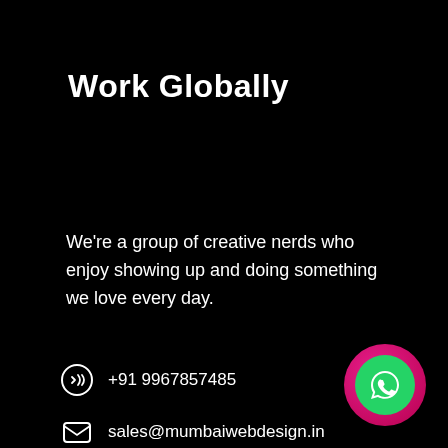Work Globally
We're a group of creative nerds who enjoy showing up and doing something we love every day.
+91 9967857485
sales@mumbaiwebdesign.in
[Figure (illustration): Social media icons: Facebook and Instagram circles]
[Figure (illustration): WhatsApp floating button with pink outer ring and green inner circle]